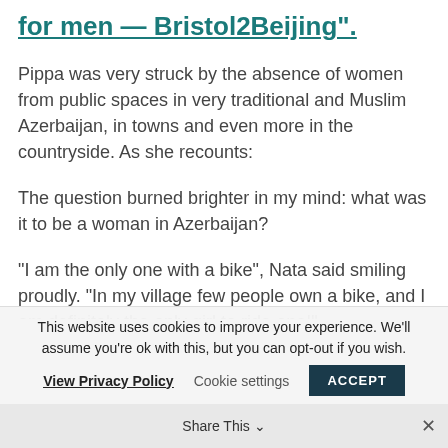for men — Bristol2Beijing".
Pippa was very struck by the absence of women from public spaces in very traditional and Muslim Azerbaijan, in towns and even more in the countryside. As she recounts:
The question burned brighter in my mind: what was it to be a woman in Azerbaijan?
"I am the only one with a bike", Nata said smiling proudly. "In my village few people own a bike, and I am definitely the only girl to ride one!"
This website uses cookies to improve your experience. We'll assume you're ok with this, but you can opt-out if you wish.
View Privacy Policy   Cookie settings   ACCEPT
Share This